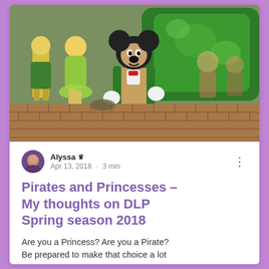[Figure (photo): Photo of Mickey Mouse character in green and gold costume walking in a parade at Disneyland Paris, with Tinker Bell and other characters visible in background, green float behind]
Alyssa 👑
Apr 13, 2018 · 3 min
Pirates and Princesses – My thoughts on DLP Spring season 2018
Are you a Princess? Are you a Pirate? Be prepared to make that choice a lot